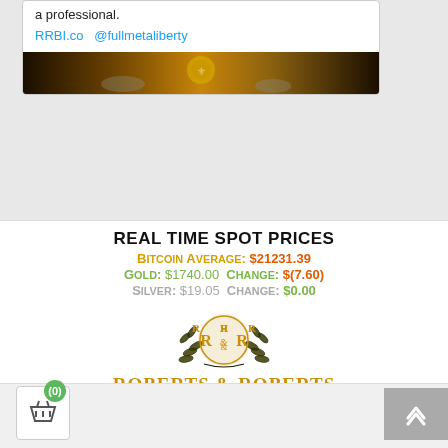a professional.
RRBI.co   @fullmetaliberty
[Figure (photo): Dark gold coin/metals image banner at bottom of tweet card]
REAL TIME SPOT PRICES
Bitcoin Average: $21231.39
Gold: $1740.00 Change: $(7.60)
Silver: $19.05 Change: $0.00
[Figure (logo): Roberts & Roberts Brokerage Incorporated ornate gold logo with R&R monogram and laurel wreath]
ROBERTS & ROBERTS
Brokerage Incorporated
We Don't Feed The Banks
[Figure (photo): Stacked silver coins photo]